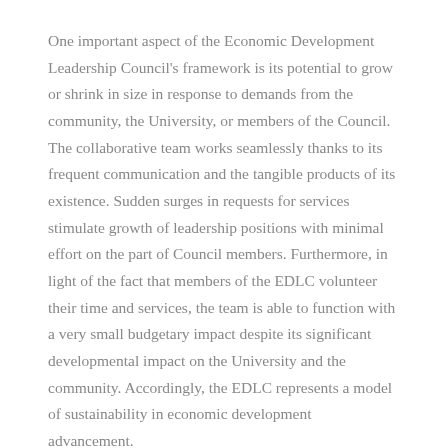One important aspect of the Economic Development Leadership Council's framework is its potential to grow or shrink in size in response to demands from the community, the University, or members of the Council. The collaborative team works seamlessly thanks to its frequent communication and the tangible products of its existence. Sudden surges in requests for services stimulate growth of leadership positions with minimal effort on the part of Council members. Furthermore, in light of the fact that members of the EDLC volunteer their time and services, the team is able to function with a very small budgetary impact despite its significant developmental impact on the University and the community. Accordingly, the EDLC represents a model of sustainability in economic development advancement.

While the EDLC has the potential to shrink if/when needed,